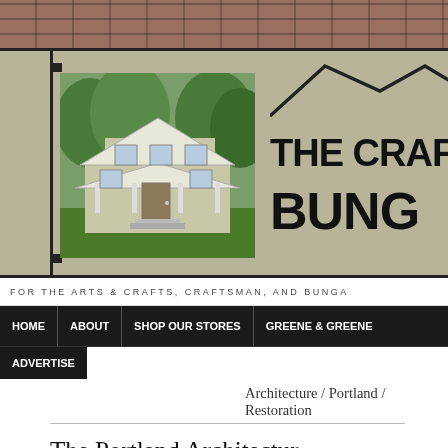[Figure (photo): Brick texture banner at top of page]
[Figure (illustration): The Craftsman Bungalow website logo banner with house photo on left and stylized 'THE CRAF... BUNG...' text logo with roof graphic on right, on tan/khaki background with black border]
FOR THE ARTS & CRAFTS, CRAFTSMAN, AND BUNGA...
HOME | ABOUT | SHOP OUR STORES | GREENE & GREENE | ADVERTISE
Architecture / Portland / Restoration
The Portland Architectur... 16th Annual Kitchen Rev...